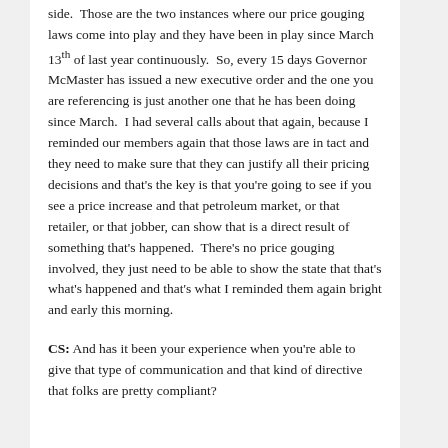side.  Those are the two instances where our price gouging laws come into play and they have been in play since March 13th of last year continuously.  So, every 15 days Governor McMaster has issued a new executive order and the one you are referencing is just another one that he has been doing since March.  I had several calls about that again, because I reminded our members again that those laws are in tact and they need to make sure that they can justify all their pricing decisions and that's the key is that you're going to see if you see a price increase and that petroleum market, or that retailer, or that jobber, can show that is a direct result of something that's happened.  There's no price gouging involved, they just need to be able to show the state that that's what's happened and that's what I reminded them again bright and early this morning.
CS: And has it been your experience when you're able to give that type of communication and that kind of directive that folks are pretty compliant?